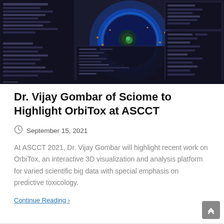[Figure (screenshot): Screenshot of OrbiTox software interface showing a dark-themed application with a 3D spherical visualization of scientific data (glowing blue sphere with orange/yellow data points) on a dark background, with UI panels showing data parameters on left and right sides.]
Dr. Vijay Gombar of Sciome to Highlight OrbiTox at ASCCT
September 15, 2021
At ASCCT 2021, Dr. Vijay Gombar will highlight recent work on OrbiTox, an interactive 3D visualization and analysis platform for varied scientific big data with special emphasis on predictive toxicology.
Continue Reading